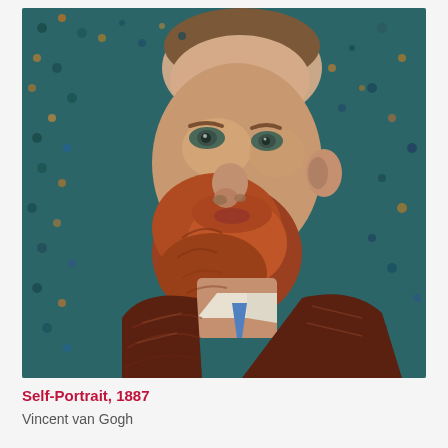[Figure (photo): Vincent van Gogh Self-Portrait, 1887. A close-up oil painting of a man with reddish-auburn beard and mustache, wearing a dark brownish-red jacket with a white shirt and blue tie visible at the collar. The background is a pointillist-style pattern of teal, blue, and orange-yellow dabs of paint. The subject gazes slightly to the left with greenish eyes.]
Self-Portrait, 1887
Vincent van Gogh